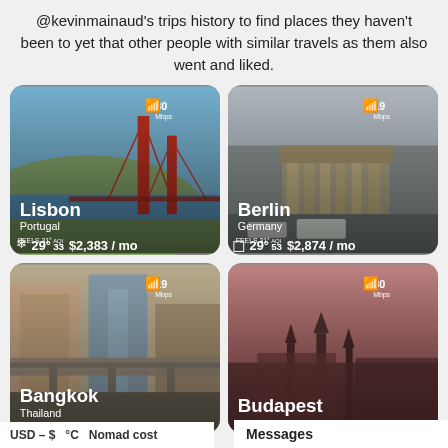@kevinmainaud's trips history to find places they haven't been to yet that other people with similar travels as them also went and liked.
[Figure (screenshot): Travel recommendation card for Lisbon, Portugal showing a bridge photo, WiFi speed 30 Mbps, temperature 29° (feels 31°), AQI 33, cost $2,383/mo]
[Figure (screenshot): Travel recommendation card for Berlin, Germany showing Brandenburg Gate photo, WiFi speed 19 Mbps, temperature 29° (feels 31°), AQI 53, cost $2,874/mo]
[Figure (screenshot): Travel recommendation card for Bangkok, Thailand showing city skyline photo, WiFi speed 19 Mbps]
[Figure (screenshot): Travel recommendation card for Budapest showing warm-toned city photo, WiFi speed 30 Mbps]
USD – $   °C   Nomad cost
Messages